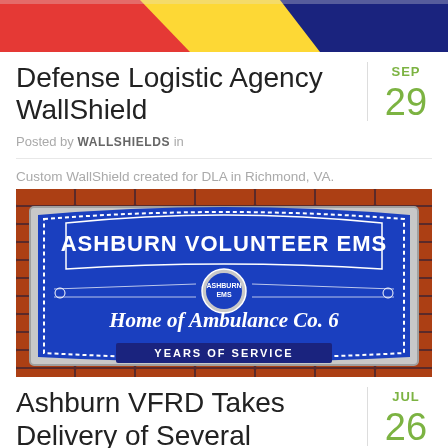[Figure (photo): Partial view of a colorful sign or logo with red, yellow, and blue geometric shapes at the top of the page]
Defense Logistic Agency WallShield
Posted by WALLSHIELDS in
Custom WallShield created for DLA in Richmond, VA.
[Figure (photo): Photo of a blue WallShield sign reading 'ASHBURN VOLUNTEER EMS Home of Ambulance Co. 6 YEARS OF SERVICE' mounted on a red brick wall]
Ashburn VFRD Takes Delivery of Several Custom Wall Shields